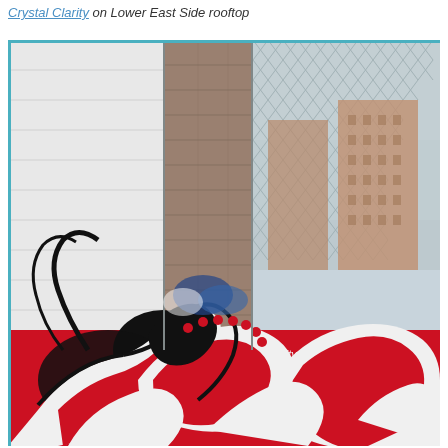Crystal Clarity on Lower East Side rooftop
[Figure (photo): Photograph of a graffiti mural by Crystal Clarity on a Lower East Side rooftop wall. The mural features bold black, white, and red swirling tentacle/wave-like patterns with red dots, painted on a white brick wall. Behind the wall is a chain-link fence, a brown brick high-rise building, and cloudy sky.]